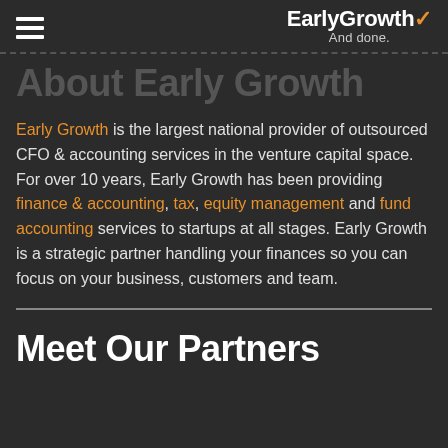EarlyGrowth And done.
Early Growth is the largest national provider of outsourced CFO & accounting services in the venture capital space. For over 10 years, Early Growth has been providing finance & accounting, tax, equity management and fund accounting services to startups at all stages. Early Growth is a strategic partner handling your finances so you can focus on your business, customers and team.
Meet Our Partners